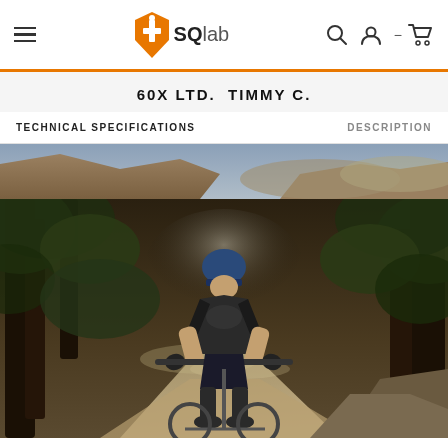SQlab navigation header with hamburger menu, logo, search, account, and cart icons
60X LTD. TIMMY C.
TECHNICAL SPECIFICATIONS    DESCRIPTION
[Figure (photo): Partial landscape/rock terrain photo at the top of the product page]
[Figure (photo): Mountain biker riding down a dusty trail through trees, wearing a blue helmet and dark jersey, coming toward camera]